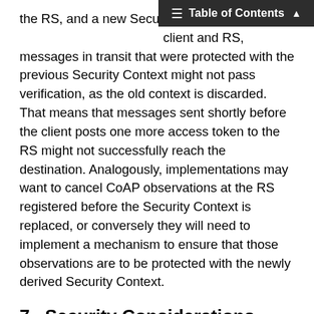Table of Contents
the RS, and a new Security Context is established between the client and RS, messages in transit that were protected with the previous Security Context might not pass verification, as the old context is discarded. That means that messages sent shortly before the client posts one more access token to the RS might not successfully reach the destination. Analogously, implementations may want to cancel CoAP observations at the RS registered before the Security Context is replaced, or conversely they will need to implement a mechanism to ensure that those observations are to be protected with the newly derived Security Context.
7.  Security Considerations
This document specifies a profile for the Authentication and Authorization for Constrained Environments (ACE) framework [I-D.ietf-ace-oauth-authz]. Thus the general security considerations from the framework also apply to this profile.